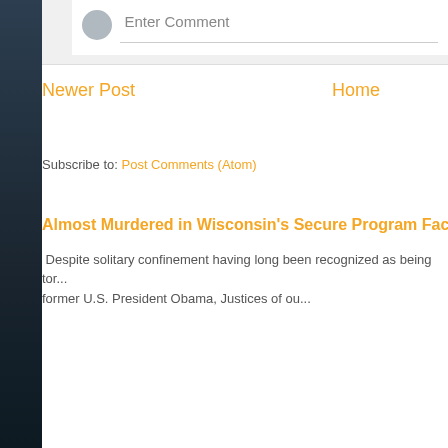Enter Comment
Newer Post
Home
Subscribe to: Post Comments (Atom)
Almost Murdered in Wisconsin's Secure Program Facility
Despite solitary confinement having long been recognized as being tor... former U.S. President Obama, Justices of ou...